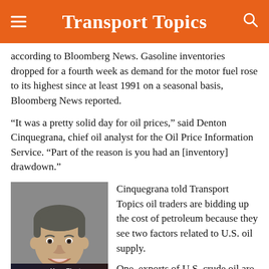Transport Topics
according to Bloomberg News. Gasoline inventories dropped for a fourth week as demand for the motor fuel rose to its highest since at least 1991 on a seasonal basis, Bloomberg News reported.
“It was a pretty solid day for oil prices,” said Denton Cinquegrana, chief oil analyst for the Oil Price Information Service. “Part of the reason is you had an [inventory] drawdown.”
[Figure (photo): Headshot of Denton Cinquegrana, a man in a suit with short dark hair, smiling]
Cinquegrana told Transport Topics oil traders are bidding up the cost of petroleum because they see two factors related to U.S. oil supply.
One, exports of U.S. crude oil are the highest ever, Cinquegrana said, with the United States ...
[Figure (infographic): Advertisement banner: Your Fleet Performance Management Partner - EROAD logo with truck image and Learn More button]